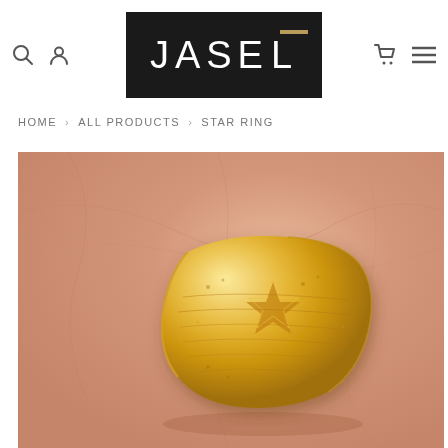JASEL — navigation header with search, account, cart, and menu icons
HOME > ALL PRODUCTS > STAR RING
[Figure (photo): Close-up photograph of a gold textured star ring on a peach/salmon fabric background. The ring is wide-band with embossed star design and brushed gold finish.]